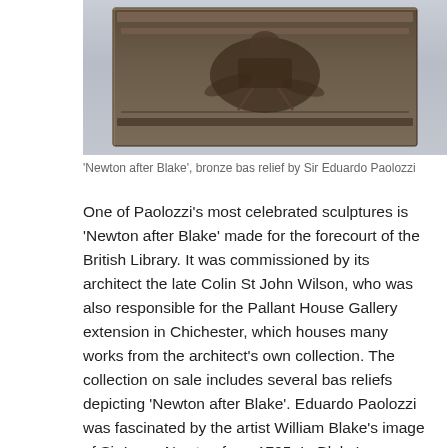[Figure (photo): Bronze bas relief sculpture 'Newton after Blake' by Sir Eduardo Paolozzi — a dark bronze rectangular relief depicting a figure, photographed against a light grey background]
'Newton after Blake', bronze bas relief by Sir Eduardo Paolozzi
One of Paolozzi's most celebrated sculptures is 'Newton after Blake' made for the forecourt of the British Library. It was commissioned by its architect the late Colin St John Wilson, who was also responsible for the Pallant House Gallery extension in Chichester, which houses many works from the architect's own collection. The collection on sale includes several bas reliefs depicting 'Newton after Blake'. Eduardo Paolozzi was fascinated by the artist William Blake's image of Sir Isaac Newton from 1795. In Blake's depiction the scientist appears oblivious to all around him, consumed by the need to redact the universe to mathematical proportion. Paolozzi explained of his own sculpture that ". Newton sits on